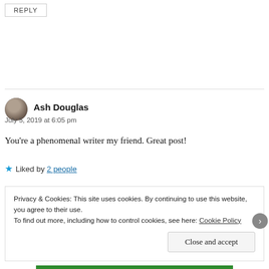REPLY
Ash Douglas
July 5, 2019 at 6:05 pm
You're a phenomenal writer my friend. Great post!
Liked by 2 people
Privacy & Cookies: This site uses cookies. By continuing to use this website, you agree to their use.
To find out more, including how to control cookies, see here: Cookie Policy
Close and accept